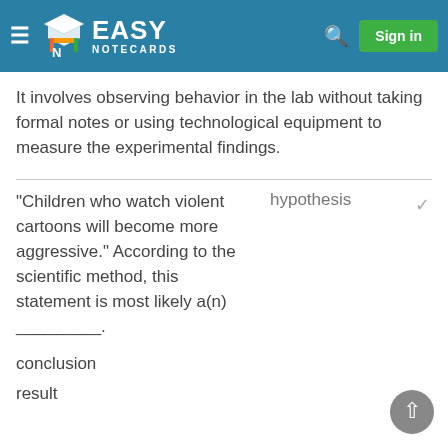Easy Notecards
It involves observing behavior in the lab without taking formal notes or using technological equipment to measure the experimental findings.
"Children who watch violent cartoons will become more aggressive." According to the scientific method, this statement is most likely a(n) _________.
hypothesis
conclusion
result